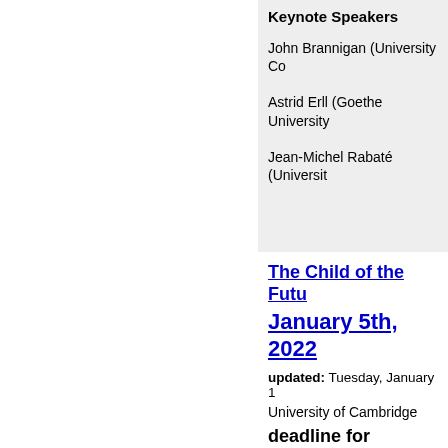Keynote Speakers
John Brannigan (University Co...
Astrid Erll (Goethe University...
Jean-Michel Rabaté (Universit...
The Child of the Futu...
January 5th, 2022
updated: Tuesday, January 1...
University of Cambridge
deadline for submiss...
The Child of the Future Ca... 2022 University of Cambridge... children developed a compl...